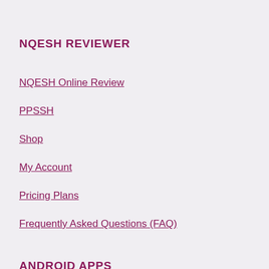NQESH REVIEWER
NQESH Online Review
PPSSH
Shop
My Account
Pricing Plans
Frequently Asked Questions (FAQ)
ANDROID APPS
DepEd EPT Reviewer